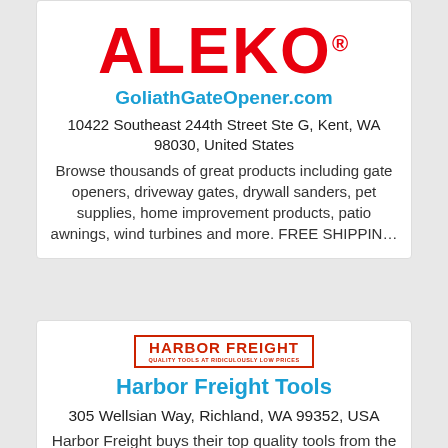[Figure (logo): ALEKO logo in bold red letters with registered trademark symbol]
GoliathGateOpener.com
10422 Southeast 244th Street Ste G, Kent, WA 98030, United States
Browse thousands of great products including gate openers, driveway gates, drywall sanders, pet supplies, home improvement products, patio awnings, wind turbines and more. FREE SHIPPIN…
[Figure (logo): Harbor Freight logo — red box with HARBOR FREIGHT text and tagline QUALITY TOOLS AT RIDICULOUSLY LOW PRICES]
Harbor Freight Tools
305 Wellsian Way, Richland, WA 99352, USA
Harbor Freight buys their top quality tools from the same factories that supply our competitors. We cut out the middleman and pass the savings